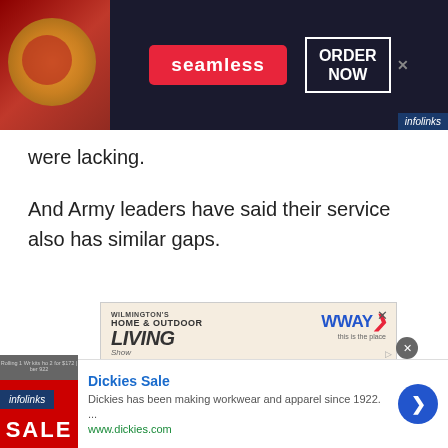[Figure (screenshot): Seamless food delivery advertisement banner with pizza image on left, Seamless logo in red badge center, ORDER NOW button in white border box on right, infolinks label]
were lacking.
And Army leaders have said their service also has similar gaps.
[Figure (screenshot): Home & Outdoor Living Show advertisement featuring WWAY logo and 'Enter to win $750 from FLOOR COVERINGS International' contest]
[Figure (screenshot): Dickies Sale advertisement showing 'Dickies has been making workwear and apparel since 1922.' and www.dickies.com]